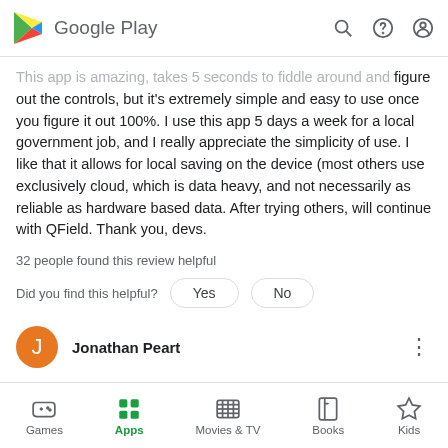Google Play
This app is amazing, takes 5 seconds to fiddle around and figure out the controls, but it's extremely simple and easy to use once you figure it out 100%. I use this app 5 days a week for a local government job, and I really appreciate the simplicity of use. I like that it allows for local saving on the device (most others use exclusively cloud, which is data heavy, and not necessarily as reliable as hardware based data. After trying others, will continue with QField. Thank you, devs.
32 people found this review helpful
Did you find this helpful?
Jonathan Peart
December 13, 2021
Games  Apps  Movies & TV  Books  Kids